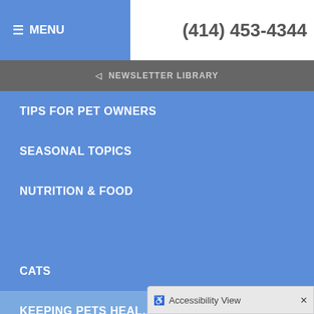≡ MENU   (414) 453-4344
NEWSLETTER LIBRARY
TIPS FOR PET OWNERS
SEASONAL TOPICS
NUTRITION & FOOD
RECOGNIZING ILLNESS
VISITING THE VET
EQUINE
CATS
KEEPING PETS HEAL…
Accessibility View ×